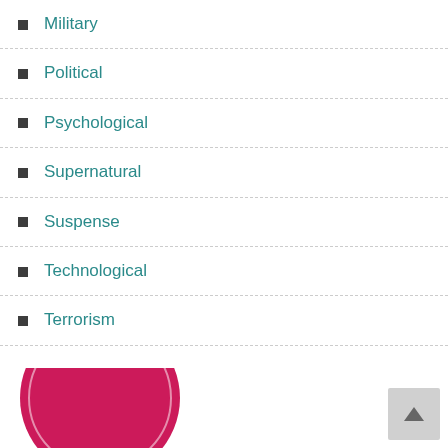Military
Political
Psychological
Supernatural
Suspense
Technological
Terrorism
[Figure (illustration): Pink/crimson circle logo partially visible at bottom left, with a white circular outline inside it. A light gray scroll-to-top button with an upward arrow is visible at bottom right.]